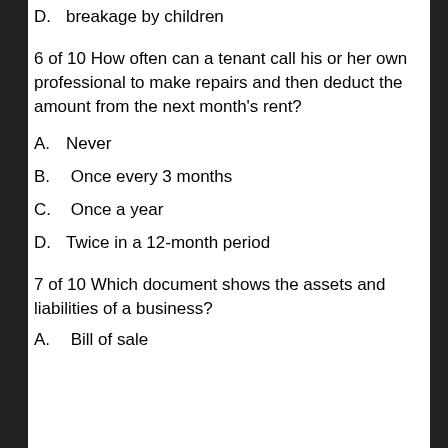D.    breakage by children
6 of 10 How often can a tenant call his or her own professional to make repairs and then deduct the amount from the next month's rent?
A.    Never
B.    Once every 3 months
C.    Once a year
D.    Twice in a 12-month period
7 of 10 Which document shows the assets and liabilities of a business?
A.    Bill of sale